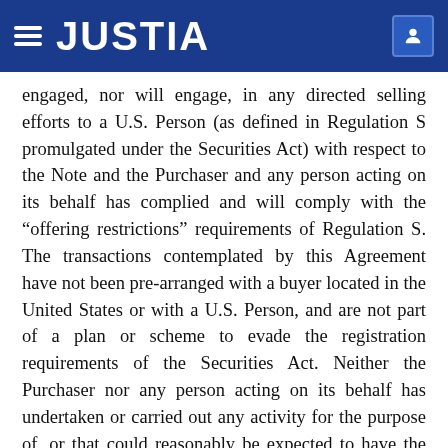JUSTIA
engaged, nor will engage, in any directed selling efforts to a U.S. Person (as defined in Regulation S promulgated under the Securities Act) with respect to the Note and the Purchaser and any person acting on its behalf has complied and will comply with the “offeringrestrictions” requirements of Regulation S. The transactions contemplated by this Agreement have not been pre-arranged with a buyer located in the United States or with a U.S. Person, and are not part of a plan or scheme to evade the registration requirements of the Securities Act. Neither the Purchaser nor any person acting on its behalf has undertaken or carried out any activity for the purpose of, or that could reasonably be expected to have the effect of, conditioning the market in the United States, its territories or possessions, for the Note. The Purchaser agrees not to cause any advertisement of the Note to be published in any newspaper, or periodical...